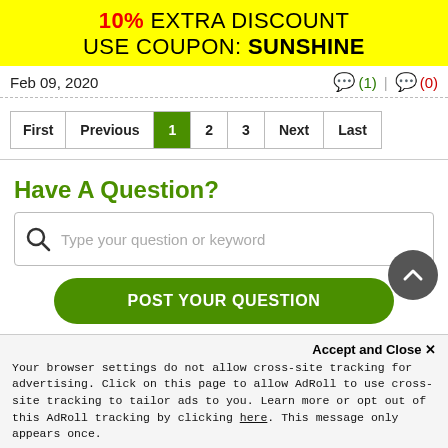10% EXTRA DISCOUNT USE COUPON: SUNSHINE
Feb 09, 2020
(1) | (0)
First | Previous | 1 | 2 | 3 | Next | Last
Have A Question?
Type your question or keyword
POST YOUR QUESTION
No questions posted yet !! Be the first to post question.
Accept and Close ×
Your browser settings do not allow cross-site tracking for advertising. Click on this page to allow AdRoll to use cross-site tracking to tailor ads to you. Learn more or opt out of this AdRoll tracking by clicking here. This message only appears once.